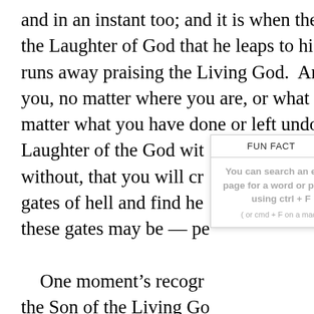and in an instant too; and it is when the cripple hears the Laughter of God that he leaps to his feet and runs away praising the Living God.  And it is when you, no matter where you are, or what you are, no matter what you have done or left undone. hear the Laughter of the God with[out, that you will cr]aw[l] gates of hell and find he[aven whe]re these gates may be — pe[rfect.]  One moment's recogr[ition of] the Son of the Living Go[d has] attuned your ear for the [music] which will put to flight a[ll the de]mine and thine, and free[d...]
[Figure (infographic): A popup overlay labeled 'FUN FACT' with a teal/cyan close button marked 'x'. The popup contains bold gray text: 'You can search an entire page for a word or phrase using ctrl + F' and smaller text '( or cmd + F on a mac )']